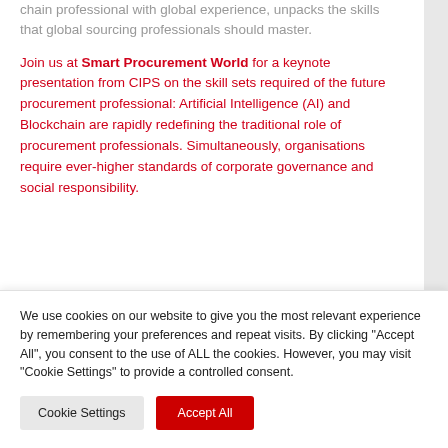chain professional with global experience, unpacks the skills that global sourcing professionals should master.
Join us at Smart Procurement World for a keynote presentation from CIPS on the skill sets required of the future procurement professional: Artificial Intelligence (AI) and Blockchain are rapidly redefining the traditional role of procurement professionals. Simultaneously, organisations require ever-higher standards of corporate governance and social responsibility.
We use cookies on our website to give you the most relevant experience by remembering your preferences and repeat visits. By clicking "Accept All", you consent to the use of ALL the cookies. However, you may visit "Cookie Settings" to provide a controlled consent.